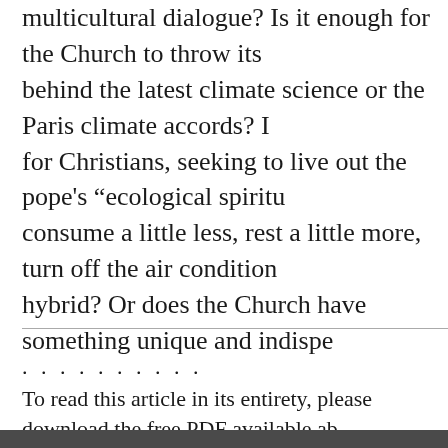multicultural dialogue? Is it enough for the Church to throw its behind the latest climate science or the Paris climate accords? I for Christians, seeking to live out the pope's "ecological spiritu consume a little less, rest a little more, turn off the air condition hybrid? Or does the Church have something unique and indispe
. . . . . . . . . .
To read this article in its entirety, please download the free PDF available ab issue.